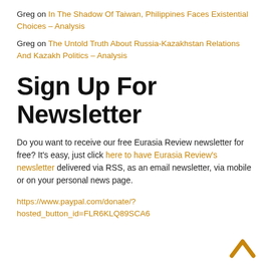Greg on In The Shadow Of Taiwan, Philippines Faces Existential Choices – Analysis
Greg on The Untold Truth About Russia-Kazakhstan Relations And Kazakh Politics – Analysis
Sign Up For Newsletter
Do you want to receive our free Eurasia Review newsletter for free? It's easy, just click here to have Eurasia Review's newsletter delivered via RSS, as an email newsletter, via mobile or on your personal news page.
https://www.paypal.com/donate/?hosted_button_id=FLR6KLQ89SCA6